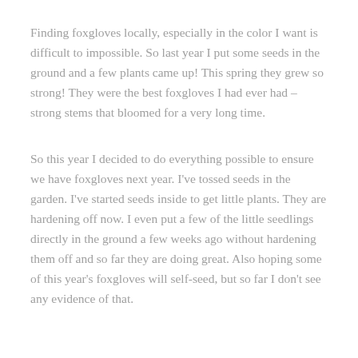Finding foxgloves locally, especially in the color I want is difficult to impossible. So last year I put some seeds in the ground and a few plants came up! This spring they grew so strong! They were the best foxgloves I had ever had – strong stems that bloomed for a very long time.
So this year I decided to do everything possible to ensure we have foxgloves next year. I've tossed seeds in the garden. I've started seeds inside to get little plants. They are hardening off now. I even put a few of the little seedlings directly in the ground a few weeks ago without hardening them off and so far they are doing great. Also hoping some of this year's foxgloves will self-seed, but so far I don't see any evidence of that.